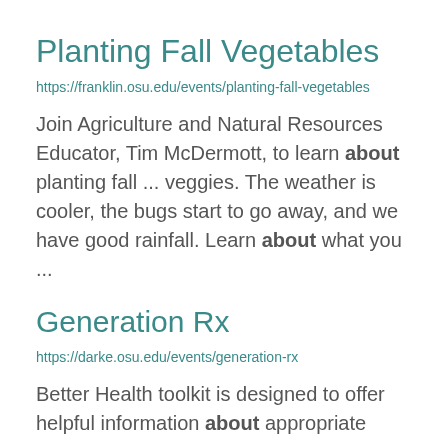Planting Fall Vegetables
https://franklin.osu.edu/events/planting-fall-vegetables
Join Agriculture and Natural Resources Educator, Tim McDermott, to learn about planting fall ... veggies. The weather is cooler, the bugs start to go away, and we have good rainfall. Learn about what you ...
Generation Rx
https://darke.osu.edu/events/generation-rx
Better Health toolkit is designed to offer helpful information about appropriate